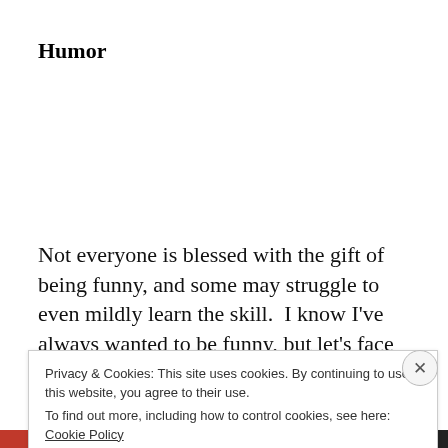Humor
Not everyone is blessed with the gift of being funny, and some may struggle to even mildly learn the skill.  I know I’ve always wanted to be funny, but let’s face it, we can’t all be great comedians.  At our wedding, my
Privacy & Cookies: This site uses cookies. By continuing to use this website, you agree to their use.
To find out more, including how to control cookies, see here: Cookie Policy
Close and accept
WORDPRESS.COM